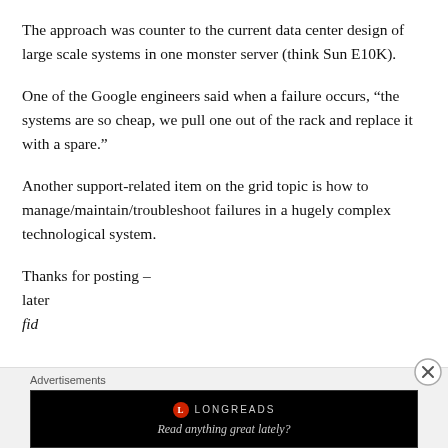The approach was counter to the current data center design of large scale systems in one monster server (think Sun E10K).
One of the Google engineers said when a failure occurs, “the systems are so cheap, we pull one out of the rack and replace it with a spare.”
Another support-related item on the grid topic is how to manage/maintain/troubleshoot failures in a hugely complex technological system.
Thanks for posting –
later
fid
Advertisements
[Figure (other): Longreads advertisement banner with logo and tagline 'Read anything great lately?']